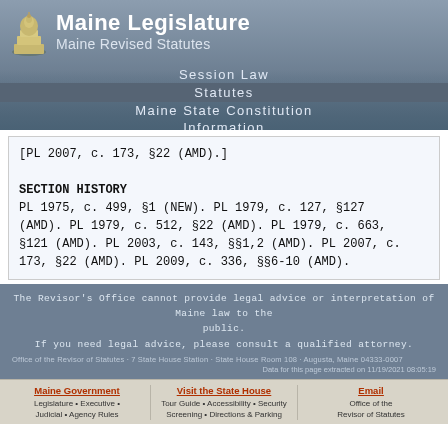Maine Legislature
Maine Revised Statutes
Session Law
Statutes
Maine State Constitution
Information
[PL 2007, c. 173, §22 (AMD).]

SECTION HISTORY
PL 1975, c. 499, §1 (NEW). PL 1979, c. 127, §127 (AMD). PL 1979, c. 512, §22 (AMD). PL 1979, c. 663, §121 (AMD). PL 2003, c. 143, §§1,2 (AMD). PL 2007, c. 173, §22 (AMD). PL 2009, c. 336, §§6-10 (AMD).
The Revisor's Office cannot provide legal advice or interpretation of Maine law to the public.
If you need legal advice, please consult a qualified attorney.
Office of the Revisor of Statutes · 7 State House Station · State House Room 108 · Augusta, Maine 04333-0007
Data for this page extracted on 11/19/2021 08:05:19
Maine Government
Legislature • Executive • Judicial • Agency Rules
Visit the State House
Tour Guide • Accessibility • Security Screening • Directions & Parking
Email
Office of the Revisor of Statutes